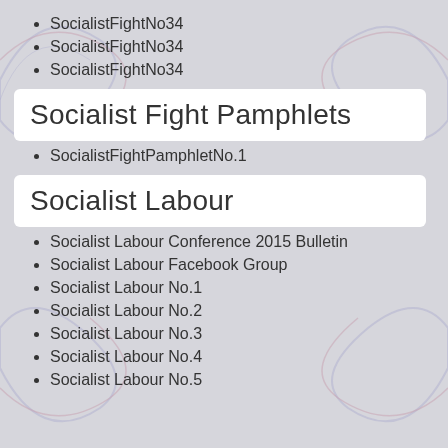SocialistFightNo34
SocialistFightNo34
SocialistFightNo34
Socialist Fight Pamphlets
SocialistFightPamphletNo.1
Socialist Labour
Socialist Labour Conference 2015 Bulletin
Socialist Labour Facebook Group
Socialist Labour No.1
Socialist Labour No.2
Socialist Labour No.3
Socialist Labour No.4
Socialist Labour No.5